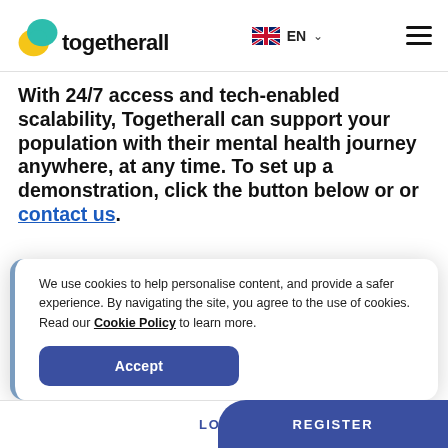[Figure (logo): Togetherall logo with overlapping teal and yellow speech bubble icons and bold lowercase 'togetherall' text]
EN
With 24/7 access and tech-enabled scalability, Togetherall can support your population with their mental health journey anywhere, at any time. To set up a demonstration, click the button below or or contact us.
We use cookies to help personalise content, and provide a safer experience. By navigating the site, you agree to the use of cookies. Read our Cookie Policy to learn more.
Accept
LOGIN   REGISTER